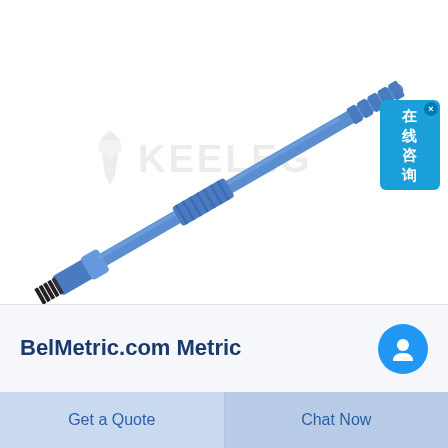[Figure (photo): A blue metric bolt/screw tool (tap or thread gauge) oriented diagonally from lower-left to upper-right, with a handle brush end on the lower-left and a threaded/serrated end on the upper-right. White background with KEELEG watermark logo in gray.]
在线咨询
BelMetric.com Metric
Get a Quote
Chat Now